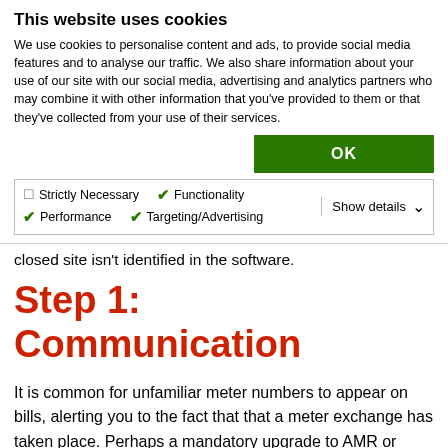This website uses cookies
We use cookies to personalise content and ads, to provide social media features and to analyse our traffic. We also share information about your use of our site with our social media, advertising and analytics partners who may combine it with other information that you've provided to them or that they've collected from your use of their services.
OK
Strictly Necessary  ✓ Functionality  ✓ Performance  ✓ Targeting/Advertising  Show details ∨
closed site isn't identified in the software.
Step 1: Communication
It is common for unfamiliar meter numbers to appear on bills, alerting you to the fact that that a meter exchange has taken place. Perhaps a mandatory upgrade to AMR or simply a faulty meter initially. Or even the times when an